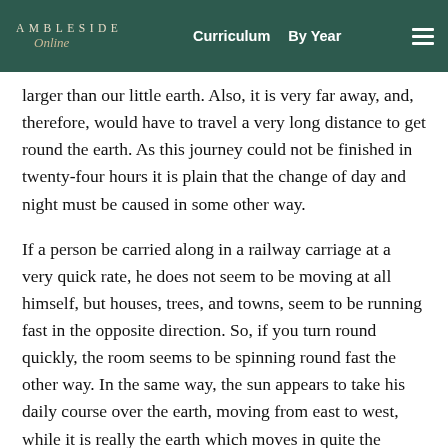AMBLESIDE Online | Curriculum | By Year
larger than our little earth. Also, it is very far away, and, therefore, would have to travel a very long distance to get round the earth. As this journey could not be finished in twenty-four hours it is plain that the change of day and night must be caused in some other way.
If a person be carried along in a railway carriage at a very quick rate, he does not seem to be moving at all himself, but houses, trees, and towns, seem to be running fast in the opposite direction. So, if you turn round quickly, the room seems to be spinning round fast the other way. In the same way, the sun appears to take his daily course over the earth, moving from east to west, while it is really the earth which moves in quite the opposite direction--from west to east. The sun, at least